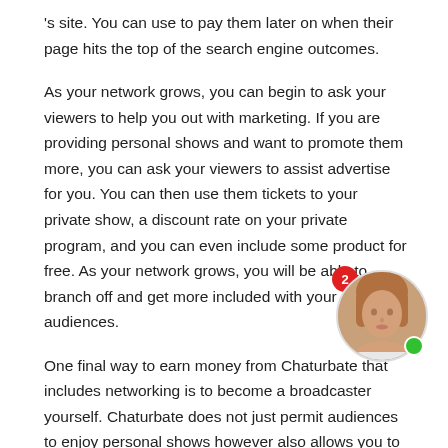's site. You can use to pay them later on when their page hits the top of the search engine outcomes.
As your network grows, you can begin to ask your viewers to help you out with marketing. If you are providing personal shows and want to promote them more, you can ask your viewers to assist advertise for you. You can then use them tickets to your private show, a discount rate on your private program, and you can even include some product for free. As your network grows, you will be able to branch off and get more included with your audiences.
One final way to earn money from Chaturbate that includes networking is to become a broadcaster yourself. Chaturbate does not just permit audiences to enjoy personal shows however also allows you to become a broadcaster yourself.
[Figure (photo): Circular avatar photo of a young woman with a red notification badge showing '2' and a green online indicator dot]
When you check out the Chaturbate site, you can click on “profile ” and then “link ”. You can check out the “pointers ” tab on the top of